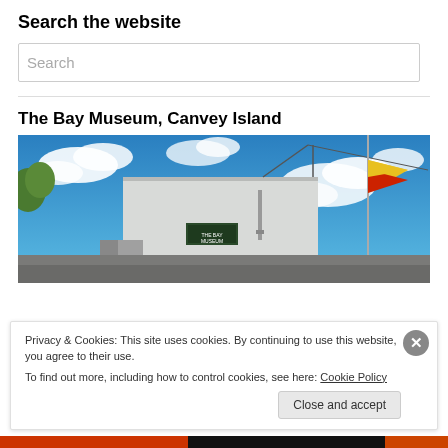Search the website
Search
The Bay Museum, Canvey Island
[Figure (photo): Exterior photo of The Bay Museum, Canvey Island — a white-painted brick building under a blue sky with clouds. A flag is visible on the right side.]
Privacy & Cookies: This site uses cookies. By continuing to use this website, you agree to their use.
To find out more, including how to control cookies, see here: Cookie Policy
Close and accept